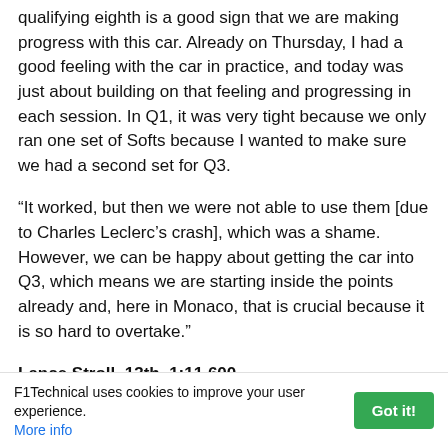qualifying eighth is a good sign that we are making progress with this car. Already on Thursday, I had a good feeling with the car in practice, and today was just about building on that feeling and progressing in each session. In Q1, it was very tight because we only ran one set of Softs because I wanted to make sure we had a second set for Q3.
“It worked, but then we were not able to use them [due to Charles Leclerc’s crash], which was a shame. However, we can be happy about getting the car into Q3, which means we are starting inside the points already and, here in Monaco, that is crucial because it is so hard to overtake.”
Lance Stroll, 13th, 1:11.600
“It was a tricky session. I did not quite have the balance in the car and I was not able to string a lap together. On my best lap, I lost some time in traffic behind [Lando] Norris, too, so that did not help either. Qualifying is very important here, so it is
F1Technical uses cookies to improve your user experience. More info